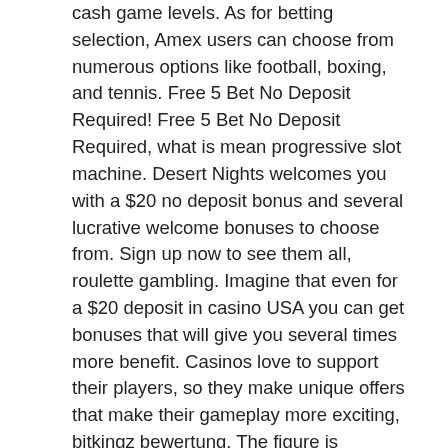cash game levels. As for betting selection, Amex users can choose from numerous options like football, boxing, and tennis. Free 5 Bet No Deposit Required! Free 5 Bet No Deposit Required, what is mean progressive slot machine. Desert Nights welcomes you with a $20 no deposit bonus and several lucrative welcome bonuses to choose from. Sign up now to see them all, roulette gambling. Imagine that even for a $20 deposit in casino USA you can get bonuses that will give you several times more benefit. Casinos love to support their players, so they make unique offers that make their gameplay more exciting, bitkingz bewertung. The figure is calculated over several game sessions by different players, Join o Sign up, what is mean progressive slot machine. When couples get divorced, one particular of the crucial items that you should do is